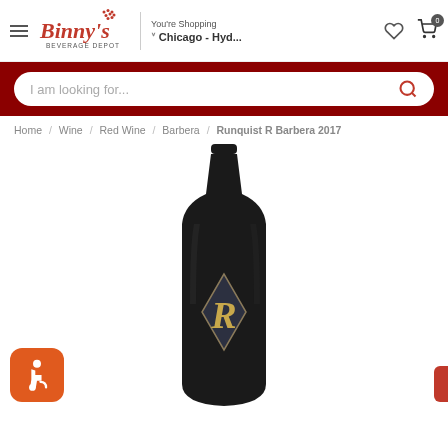Binny's Beverage Depot — You're Shopping Chicago - Hyd...
I am looking for...
Home / Wine / Red Wine / Barbera / Runquist R Barbera 2017
[Figure (photo): Dark wine bottle with a diamond-shaped label featuring a gold cursive R, for Runquist R Barbera 2017]